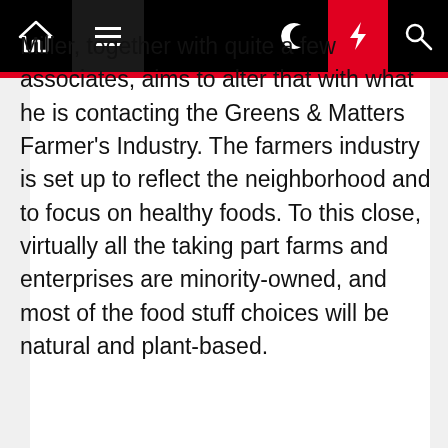Navigation bar with home, menu, moon, lightning, search icons
Miller, together with quite a few associates, aims to alter that with what he is contacting the Greens & Matters Farmer's Industry. The farmers industry is set up to reflect the neighborhood and to focus on healthy foods. To this close, virtually all the taking part farms and enterprises are minority-owned, and most of the food stuff choices will be natural and plant-based.